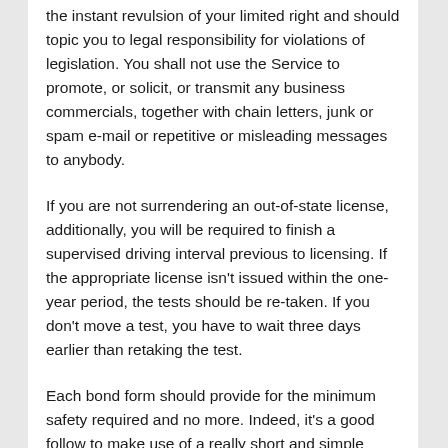the instant revulsion of your limited right and should topic you to legal responsibility for violations of legislation. You shall not use the Service to promote, or solicit, or transmit any business commercials, together with chain letters, junk or spam e-mail or repetitive or misleading messages to anybody.
If you are not surrendering an out-of-state license, additionally, you will be required to finish a supervised driving interval previous to licensing. If the appropriate license isn't issued within the one-year period, the tests should be re-taken. If you don't move a test, you have to wait three days earlier than retaking the test.
Each bond form should provide for the minimum safety required and no more. Indeed, it's a good follow to make use of a really short and simple bond type that states that the bond ?provides the